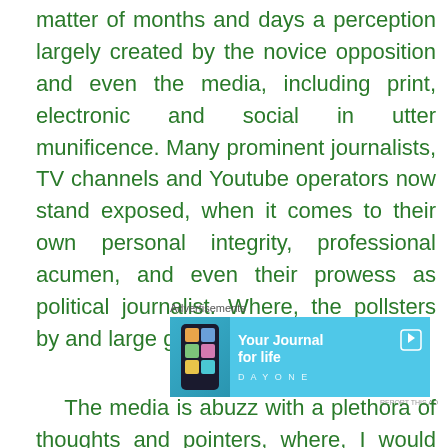matter of months and days a perception largely created by the novice opposition and even the media, including print, electronic and social in utter munificence. Many prominent journalists, TV channels and Youtube operators now stand exposed, when it comes to their own personal integrity, professional acumen, and even their prowess as political journalist. Where, the pollsters by and large got it right.
[Figure (other): Advertisement banner for DayOne journal app with text 'Your Journal for life' on a blue background with a phone mockup]
The media is abuzz with a plethora of thoughts and pointers, where, I would also like to join the bandwagon, in making my own thoughts known, even if, it is, a bit too late in the day. The great thing that has happened in this election is that...